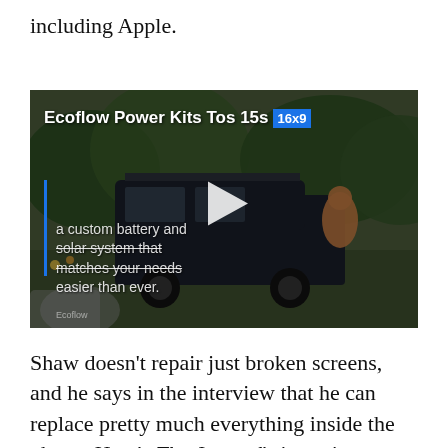including Apple.
[Figure (screenshot): Video thumbnail showing a van in an outdoor setting with the title 'Ecoflow Power Kits Tos 15s 16x9' and overlay text 'a custom battery and solar system that matches your needs easier than ever.' with a play button in the center.]
Shaw doesn't repair just broken screens, and he says in the interview that he can replace pretty much everything inside the phone. Here's The Journal's interview: